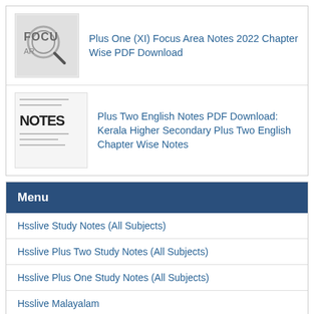Plus One (XI) Focus Area Notes 2022 Chapter Wise PDF Download
Plus Two English Notes PDF Download: Kerala Higher Secondary Plus Two English Chapter Wise Notes
Menu
Hsslive Study Notes (All Subjects)
Hsslive Plus Two Study Notes (All Subjects)
Hsslive Plus One Study Notes (All Subjects)
Hsslive Malayalam
Hsslive Kaithang
Hsslive Computer Application
Hsslive Humanities